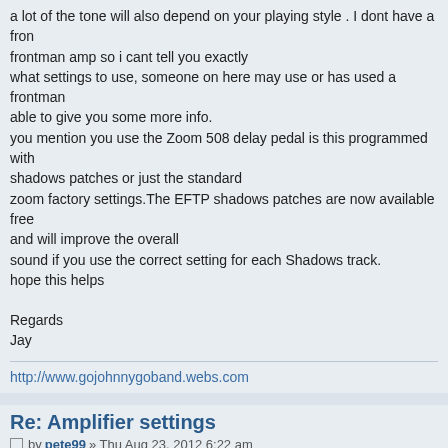a lot of the tone will also depend on your playing style . I dont have a frontman amp so i cant tell you exactly what settings to use, someone on here may use or has used a frontman able to give you some more info. you mention you use the Zoom 508 delay pedal is this programmed with shadows patches or just the standard zoom factory settings.The EFTP shadows patches are now available free and will improve the overall sound if you use the correct setting for each Shadows track. hope this helps

Regards
Jay
http://www.gojohnnygoband.webs.com
Re: Amplifier settings
by pete99 » Thu Aug 23, 2012 6:22 am
Hi Jay Thanks for the advice i'll try that and see how i get on, i'm rearly new to p not a natural so need every bit of help possible which is why i was lookin actual settings. Any help is greatly received. The advice i've been given i is change this buy that ect and its cost money so now i'm trying to work w have and go from there.